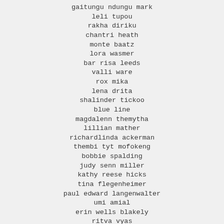gaitungu ndungu mark
leli tupou
rakha diriku
chantri heath
monte baatz
lora wasmer
bar risa leeds
valli ware
rox mika
lena drita
shalinder tickoo
blue line
magdalenn themytha
lillian mather
richardlinda ackerman
thembi tyt mofokeng
bobbie spalding
judy senn miller
kathy reese hicks
tina flegenheimer
paul edward langenwalter
umi amial
erin wells blakely
ritva vyas